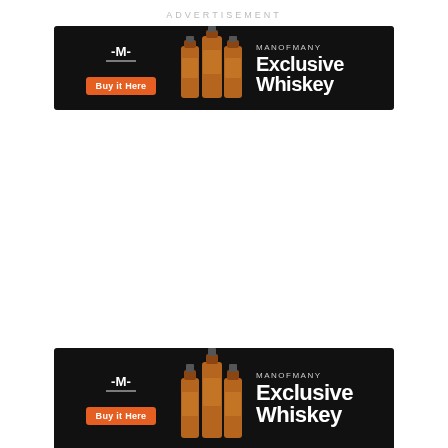ADVERTISEMENT
[Figure (illustration): ManOfMany Exclusive Whiskey advertisement banner with logo, orange Buy It Here button, whiskey bottle group, brand name MANOFMANY and text Exclusive Whiskey on black background]
[Figure (illustration): ManOfMany Exclusive Whiskey advertisement banner (duplicate) with logo, orange Buy It Here button, whiskey bottle group, brand name MANOFMANY and text Exclusive Whiskey on black background]